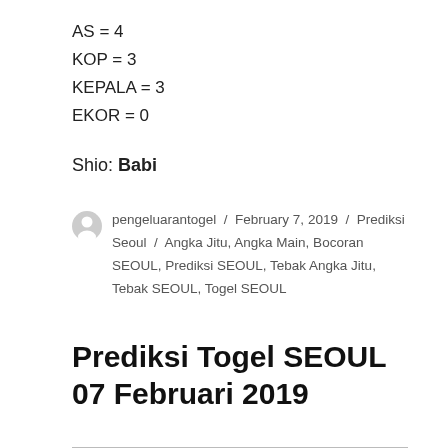AS = 4
KOP = 3
KEPALA = 3
EKOR = 0
Shio: Babi
pengeluarantogel / February 7, 2019 / Prediksi Seoul / Angka Jitu, Angka Main, Bocoran SEOUL, Prediksi SEOUL, Tebak Angka Jitu, Tebak SEOUL, Togel SEOUL
Prediksi Togel SEOUL 07 Februari 2019